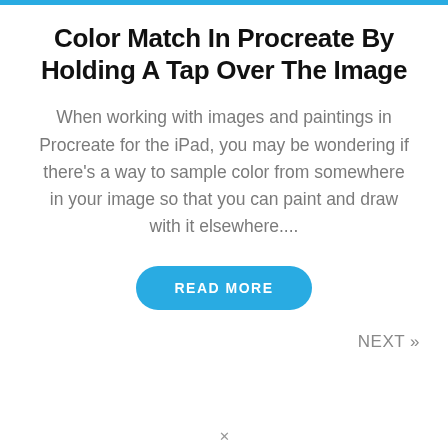Color Match In Procreate By Holding A Tap Over The Image
When working with images and paintings in Procreate for the iPad, you may be wondering if there's a way to sample color from somewhere in your image so that you can paint and draw with it elsewhere....
READ MORE
NEXT »